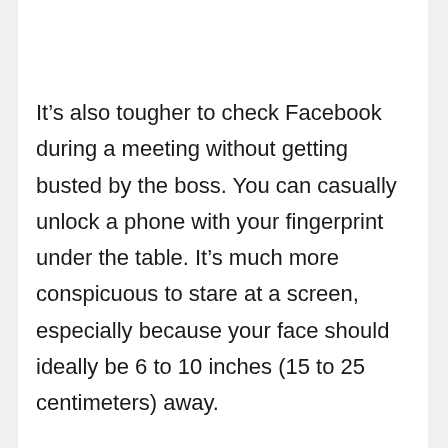It’s also tougher to check Facebook during a meeting without getting busted by the boss. You can casually unlock a phone with your fingerprint under the table. It’s much more conspicuous to stare at a screen, especially because your face should ideally be 6 to 10 inches (15 to 25 centimeters) away.
Besides unlocking the phone, you can use Face ID to confirm app purchases